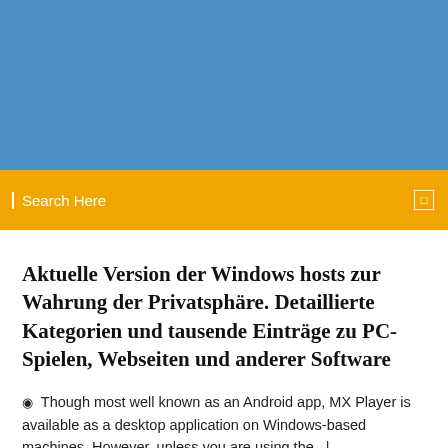[Figure (other): Blue banner header image background]
Search Here
Aktuelle Version der Windows hosts zur Wahrung der Privatsphäre. Detaillierte Kategorien und tausende Einträge zu PC-Spielen, Webseiten und anderer Software
Though most well known as an Android app, MX Player is available as a desktop application on Windows-based machines. However, unless you are using the   |